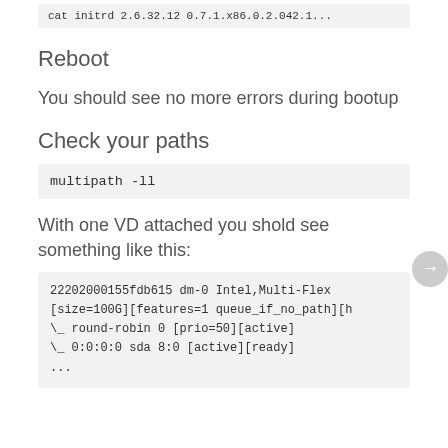cat initrd 2.6.32.12 0.7.1.x86.0.2.042.1...
Reboot
You should see no more errors during bootup
Check your paths
multipath -ll
With one VD attached you shold see something like this:
22202000155fdb615 dm-0 Intel,Multi-Flex
[size=100G][features=1 queue_if_no_path][h
\_ round-robin 0 [prio=50][active]
\_ 0:0:0:0 sda 8:0 [active][ready]
...